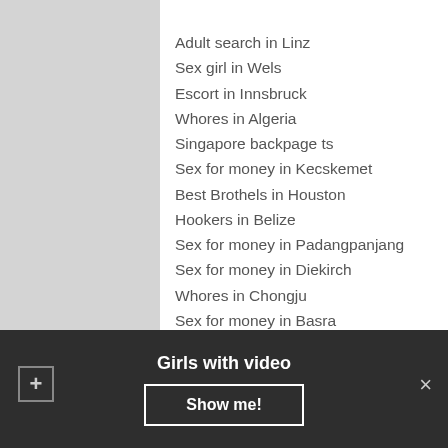Adult search in Linz
Sex girl in Wels
Escort in Innsbruck
Whores in Algeria
Singapore backpage ts
Sex for money in Kecskemet
Best Brothels in Houston
Hookers in Belize
Sex for money in Padangpanjang
Sex for money in Diekirch
Whores in Chongju
Sex for money in Basra
Slut in Bur Said
Navigation
Afghanistan
Girls with video
Show me!